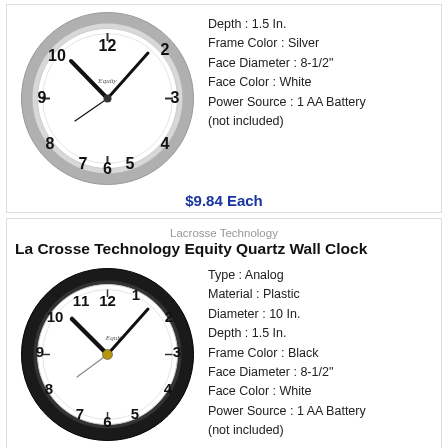[Figure (photo): Silver frame analog wall clock with white face, showing time approximately 10:10]
Depth : 1.5 In.
Frame Color : Silver
Face Diameter : 8-1/2"
Face Color : White
Power Source : 1 AA Battery (not included)
$9.84 Each
Lacrosse Technology
La Crosse Technology Equity Quartz Wall Clock
[Figure (photo): Black frame analog wall clock with white face, showing time approximately 10:10]
Type : Analog
Material : Plastic
Diameter : 10 In.
Depth : 1.5 In.
Frame Color : Black
Face Diameter : 8-1/2"
Face Color : White
Power Source : 1 AA Battery (not included)